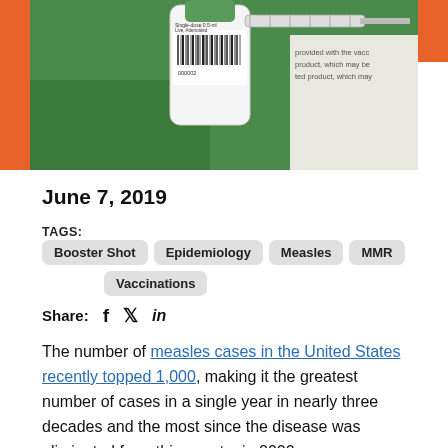[Figure (photo): Photo of a vaccine vial with barcode label reading '000002' and a syringe, held by gloved hands, with text partially visible on the right side reading 'provided with the vacc... product, which may be... which may']
June 7, 2019
TAGS: Booster Shot  Epidemiology  Measles  MMR  Vaccinations
Share: f  🐦  in
The number of measles cases in the United States recently topped 1,000, making it the greatest number of cases in a single year in nearly three decades and the most since the disease was eliminated from this country in 2000.